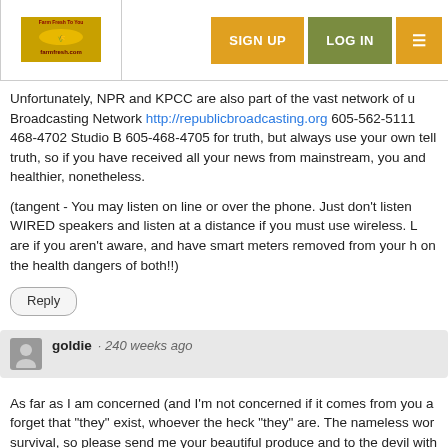SIGN UP  LOG IN  [menu]
Unfortunately, NPR and KPCC are also part of the vast network of u Broadcasting Network http://republicbroadcasting.org 605-562-5111 468-4702 Studio B 605-468-4705 for truth, but always use your own tell truth, so if you have received all your news from mainstream, you and healthier, nonetheless.
(tangent - You may listen on line or over the phone. Just don't listen WIRED speakers and listen at a distance if you must use wireless. L are if you aren't aware, and have smart meters removed from your h on the health dangers of both!!)
Reply
goldie · 240 weeks ago
As far as I am concerned (and I'm not concerned if it comes from you a forget that "they" exist, whoever the heck "they" are. The nameless wor survival, so please send me your beautiful produce and to the devil with ago, the only thing wrong with food grown locally is bad press and chem Thank you for what you do and stand for. I support you.
Reply